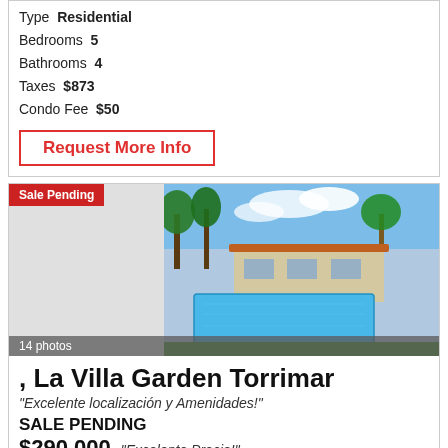Type  Residential
Bedrooms  5
Bathrooms  4
Taxes  $873
Condo Fee  $50
Request More Info
[Figure (photo): House with swimming pool and palm trees, sale pending badge, 14 photos bar]
, La Villa Garden Torrimar
"Excelente localización y Amenidades!"
SALE PENDING
$290,000   "Excelente Precio!"
City:  Guaynabo